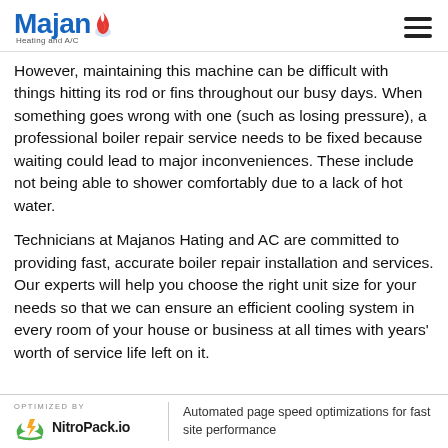[Figure (logo): Majan Heating and A/C logo with blue text and flame icon, plus hamburger menu icon on the right]
However, maintaining this machine can be difficult with things hitting its rod or fins throughout our busy days. When something goes wrong with one (such as losing pressure), a professional boiler repair service needs to be fixed because waiting could lead to major inconveniences. These include not being able to shower comfortably due to a lack of hot water.
Technicians at Majanos Hating and AC are committed to providing fast, accurate boiler repair installation and services. Our experts will help you choose the right unit size for your needs so that we can ensure an efficient cooling system in every room of your house or business at all times with years' worth of service life left on it.
OPTIMIZED BY NitroPack.io | Automated page speed optimizations for fast site performance